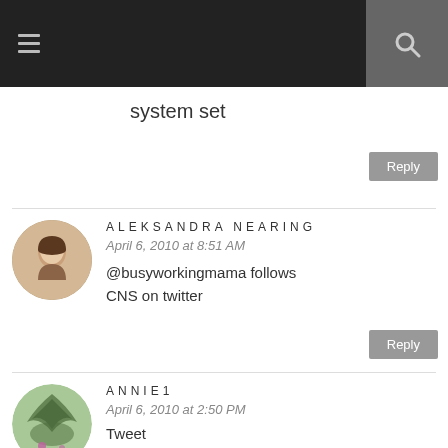system set
Reply
ALEKSANDRA NEARING
April 6, 2010 at 8:51 AM
@busyworkingmama follows CNS on twitter
Reply
ANNIE1
April 6, 2010 at 2:50 PM
Tweet